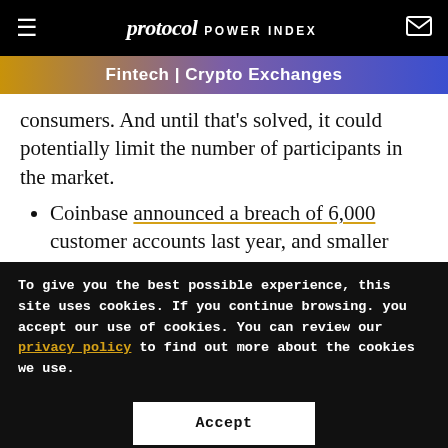protocol POWER INDEX
Fintech | Crypto Exchanges
consumers. And until that's solved, it could potentially limit the number of participants in the market.
Coinbase announced a breach of 6,000 customer accounts last year, and smaller
To give you the best possible experience, this site uses cookies. If you continue browsing. you accept our use of cookies. You can review our privacy policy to find out more about the cookies we use.
Accept